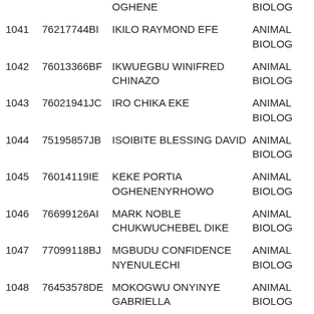| # | ID | Name | Programme |
| --- | --- | --- | --- |
|  |  | OGHENE | BIOLOG |
| 1041 | 76217744BI | IKILO RAYMOND EFE | ANIMAL BIOLOG |
| 1042 | 76013366BF | IKWUEGBU WINIFRED CHINAZO | ANIMAL BIOLOG |
| 1043 | 76021941JC | IRO CHIKA EKE | ANIMAL BIOLOG |
| 1044 | 75195857JB | ISOIBITE BLESSING DAVID | ANIMAL BIOLOG |
| 1045 | 76014119IE | KEKE PORTIA OGHENENYRHOWO | ANIMAL BIOLOG |
| 1046 | 76699126AI | MARK NOBLE CHUKWUCHEBEL DIKE | ANIMAL BIOLOG |
| 1047 | 77099118BJ | MGBUDU CONFIDENCE NYENULECHI | ANIMAL BIOLOG |
| 1048 | 76453578DE | MOKOGWU ONYINYE GABRIELLA | ANIMAL BIOLOG |